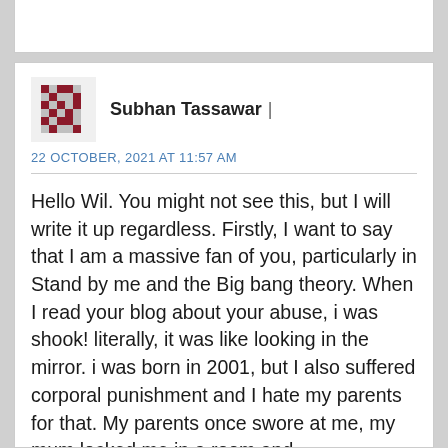[Figure (other): Partial comment box at top, clipped]
Subhan Tassawar  |
22 OCTOBER, 2021 AT 11:57 AM
Hello Wil. You might not see this, but I will write it up regardless. Firstly, I want to say that I am a massive fan of you, particularly in Stand by me and the Big bang theory. When I read your blog about your abuse, i was shook! literally, it was like looking in the mirror. i was born in 2001, but I also suffered corporal punishment and I hate my parents for that. My parents once swore at me, my mum locked me in a room and